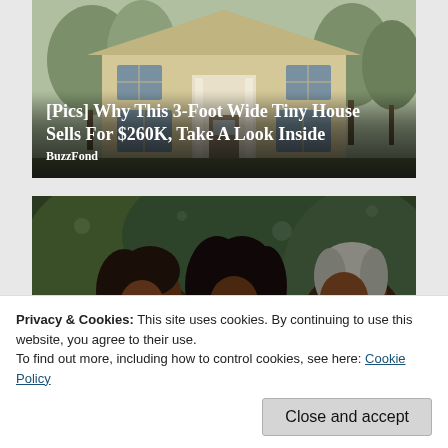[Figure (photo): A two-story colonial-style house with cream/beige siding, white columns, dark shutters, and bare trees in the background. Text overlay reads '[Pics] Why This 3-Foot Wide Tiny House Sells For $260K, Take A Look Inside' with source 'BuzzFond'.]
[Pics] Why This 3-Foot Wide Tiny House Sells For $260K, Take A Look Inside
BuzzFond
[Figure (photo): Photo of three people smiling outdoors in front of green foliage — two women and a man on the right.]
Privacy & Cookies: This site uses cookies. By continuing to use this website, you agree to their use.
To find out more, including how to control cookies, see here: Cookie Policy
Close and accept